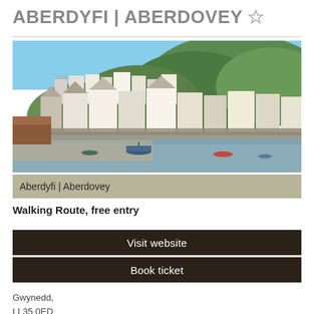ABERDYFI | ABERDOVEY
[Figure (photo): Coastal town of Aberdyfi/Aberdovey showing white and coloured houses on a hillside with green tree-covered slopes, a harbour wall, boats on tidal flats, and the estuary in the foreground.]
Aberdyfi | Aberdovey
Walking Route, free entry
Visit website
Book ticket
Gwynedd,
LL35 0ED